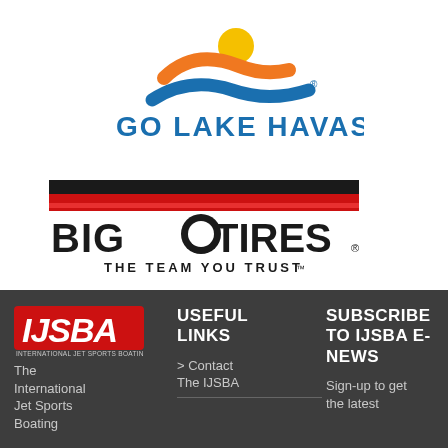[Figure (logo): Go Lake Havasu logo with orange figure swimmer/wave and blue wave, text GO LAKE HAVASU in blue]
[Figure (logo): Big O Tires logo with red/black stripe banner, bold text BIG O TIRES and tagline THE TEAM YOU TRUST]
[Figure (logo): IJSBA International Jet Sports Boating Association logo in red and blue]
USEFUL LINKS
SUBSCRIBE TO IJSBA E-NEWS
The International Jet Sports Boating
> Contact The IJSBA
Sign-up to get the latest